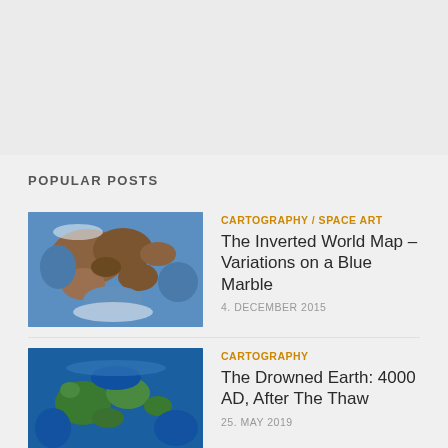POPULAR POSTS
[Figure (photo): Thumbnail image of an inverted world map showing continents and oceans]
CARTOGRAPHY / SPACE ART
The Inverted World Map – Variations on a Blue Marble
4. DECEMBER 2015
[Figure (photo): Thumbnail image of a world map showing flooded continents]
CARTOGRAPHY
The Drowned Earth: 4000 AD, After The Thaw
25. MAY 2019
[Figure (photo): Thumbnail image partially visible at bottom of page]
SPACE ART
Partial title text cut off